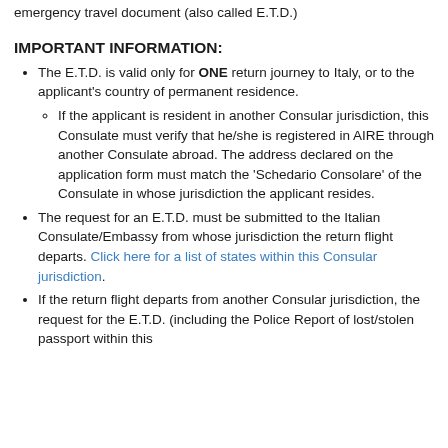emergency travel document (also called E.T.D.)
IMPORTANT INFORMATION:
The E.T.D. is valid only for ONE return journey to Italy, or to the applicant's country of permanent residence.
If the applicant is resident in another Consular jurisdiction, this Consulate must verify that he/she is registered in AIRE through another Consulate abroad. The address declared on the application form must match the 'Schedario Consolare' of the Consulate in whose jurisdiction the applicant resides.
The request for an E.T.D. must be submitted to the Italian Consulate/Embassy from whose jurisdiction the return flight departs. Click here for a list of states within this Consular jurisdiction.
If the return flight departs from another Consular jurisdiction, the request for the E.T.D. (including the Police Report of lost/stolen passport within this